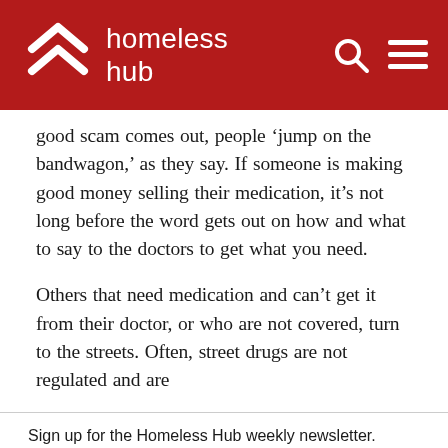homeless hub
good scam comes out, people ‘jump on the bandwagon,’ as they say. If someone is making good money selling their medication, it’s not long before the word gets out on how and what to say to the doctors to get what you need.
Others that need medication and can’t get it from their doctor, or who are not covered, turn to the streets. Often, street drugs are not regulated and are
Sign up for the Homeless Hub weekly newsletter. Learn more
Sign Up